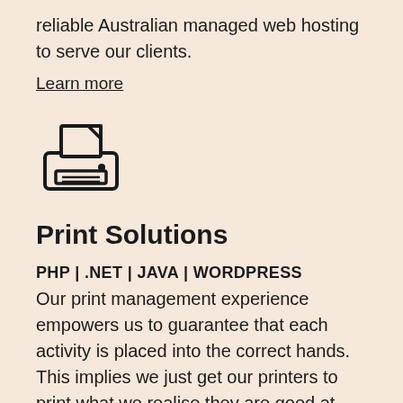reliable Australian managed web hosting to serve our clients.
Learn more
[Figure (illustration): Printer icon — a simple line-art printer with a document page emerging from the top and paper lines in the tray area.]
Print Solutions
PHP | .NET | JAVA | WORDPRESS
Our print management experience empowers us to guarantee that each activity is placed into the correct hands. This implies we just get our printers to print what we realise they are good at. Subsequently we can give our clients predictable quality and on time conveyance at a reasonable and competitive cost.